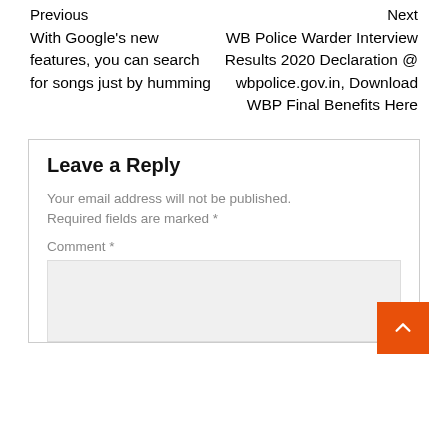Previous
With Google's new features, you can search for songs just by humming
Next
WB Police Warder Interview Results 2020 Declaration @ wbpolice.gov.in, Download WBP Final Benefits Here
Leave a Reply
Your email address will not be published. Required fields are marked *
Comment *